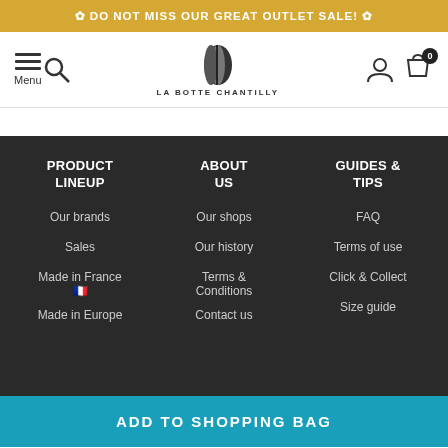✿ DO NOT MISS OUR GREAT OUTLET SALE! ✿
[Figure (logo): La Botte Chantilly logo with menu, search, user and cart icons]
PRODUCT LINEUP
ABOUT US
GUIDES & TIPS
Our brands
Our shops
FAQ
Sales
Our history
Terms of use
Made in France 🇫🇷
Terms & Conditions
Click & Collect
Size guide
Made in Europe
Contact us
ADD TO SHOPPING BAG